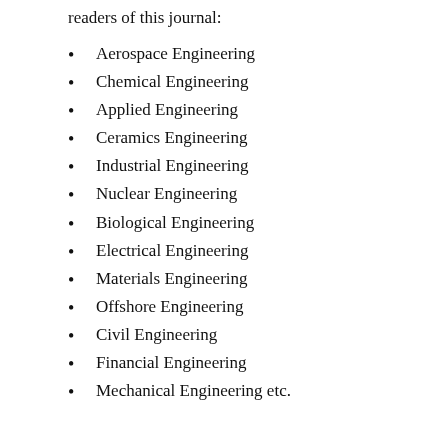readers of this journal:
Aerospace Engineering
Chemical Engineering
Applied Engineering
Ceramics Engineering
Industrial Engineering
Nuclear Engineering
Biological Engineering
Electrical Engineering
Materials Engineering
Offshore Engineering
Civil Engineering
Financial Engineering
Mechanical Engineering etc.